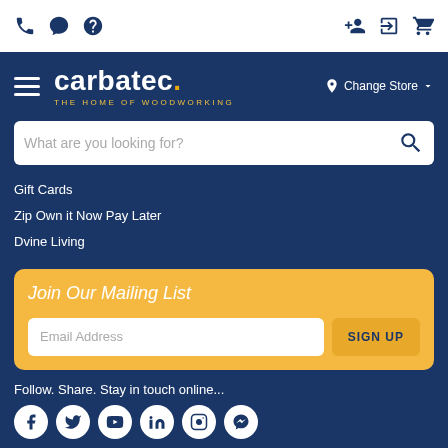Carbatec website header with phone, chat, help, account, login, cart icons
[Figure (logo): Carbatec logo — THE HOME OF WOODWORKING]
Change Store
What are you looking for?
Gift Cards
Zip Own it Now Pay Later
Dvine Living
Join Our Mailing List
Email Address
SIGN UP
Follow. Share. Stay in touch online...
© Copyright 2022 Carbatec